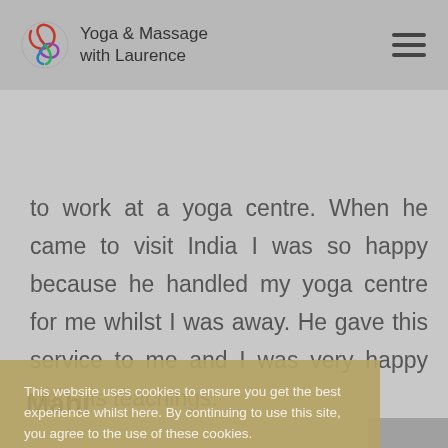Yoga & Massage with Laurence
to work at a yoga centre. When he came to visit India I was so happy because he handled my yoga centre for me whilst I was away. He gave this service to me and I was very happy with his teachings.
This website uses cookies to ensure you get the best experience whilst here. By continuing to use this site, you agree to the use of these cookies.
Got it
Mahi